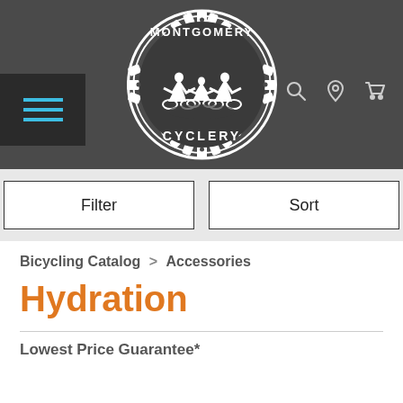[Figure (logo): Montgomery Cyclery logo — a gear/sprocket ring with three cyclists inside and the text MONTGOMERY at top and CYCLERY at bottom]
Filter
Sort
Bicycling Catalog > Accessories
Hydration
Lowest Price Guarantee*